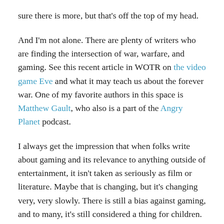sure there is more, but that's off the top of my head.
And I'm not alone. There are plenty of writers who are finding the intersection of war, warfare, and gaming. See this recent article in WOTR on the video game Eve and what it may teach us about the forever war. One of my favorite authors in this space is Matthew Gault, who also is a part of the Angry Planet podcast.
I always get the impression that when folks write about gaming and its relevance to anything outside of entertainment, it isn't taken as seriously as film or literature. Maybe that is changing, but it's changing very, very slowly. There is still a bias against gaming, and to many, it's still considered a thing for children.